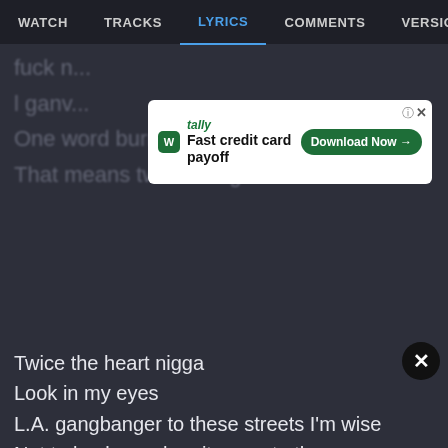WATCH   TRACKS   LYRICS   COMMENTS   VERSIONS
[Figure (screenshot): Advertisement banner for Tally app - Fast credit card payoff with Download Now button]
fuck n...
l ganv...
One word burnt
That means twice the game
Twice the heart nigga
Look in my eyes
L.A. gangbanger to these streets I'm wise
Not to knob us when it come to the guns
I've never flashed just reach and blast
Chrome hydraulics and the black ski-masks
Your next decision might be your last
Real niggaz... fade the fuck up with the fakes
Think about the next move you make... nigga!
You faggots don't scare me
I'm twice as cold
Niggaz can't tell me shit
I'm twice as old
Fool I...